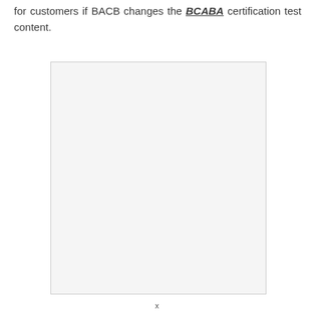for customers if BACB changes the BCABA certification test content.
[Figure (other): A large light gray empty rectangle, likely a placeholder for an image or figure.]
x